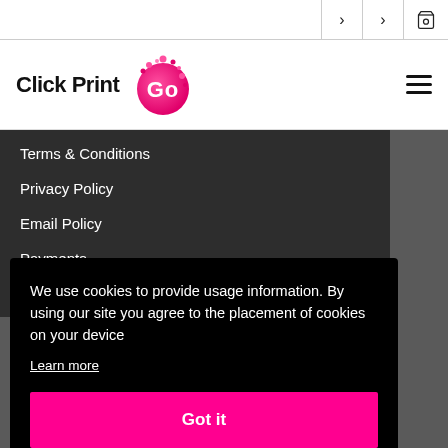Click Print Go — navigation icons: chevron, chevron, cart
[Figure (logo): Click Print Go logo — text 'Click Print Go' with a pink/magenta circular 'Go' badge with paint splashes]
Terms & Conditions
Privacy Policy
Email Policy
Payments
Refunds
We use cookies to provide usage information. By using our site you agree to the placement of cookies on your device
Learn more
Got it